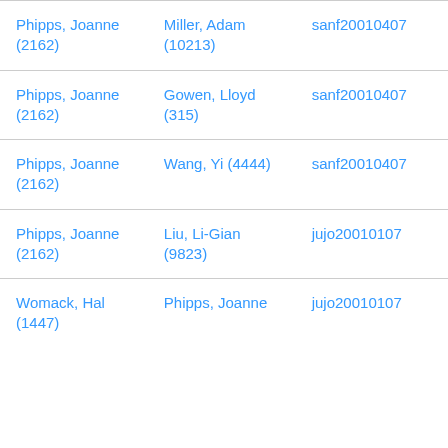| Phipps, Joanne (2162) | Miller, Adam (10213) | sanf20010407 |
| Phipps, Joanne (2162) | Gowen, Lloyd (315) | sanf20010407 |
| Phipps, Joanne (2162) | Wang, Yi (4444) | sanf20010407 |
| Phipps, Joanne (2162) | Liu, Li-Gian (9823) | jujo20010107 |
| Womack, Hal (1447) | Phipps, Joanne | jujo20010107 |